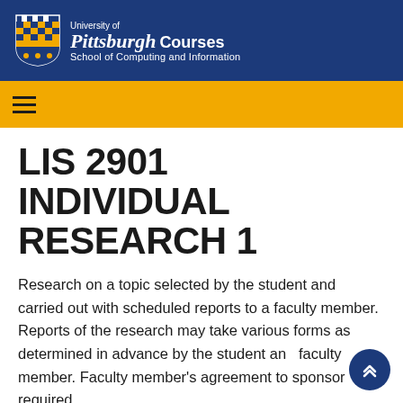University of Pittsburgh Courses — School of Computing and Information
LIS 2901 INDIVIDUAL RESEARCH 1
Research on a topic selected by the student and carried out with scheduled reports to a faculty member. Reports of the research may take various forms as determined in advance by the student and faculty member. Faculty member's agreement to sponsor required.